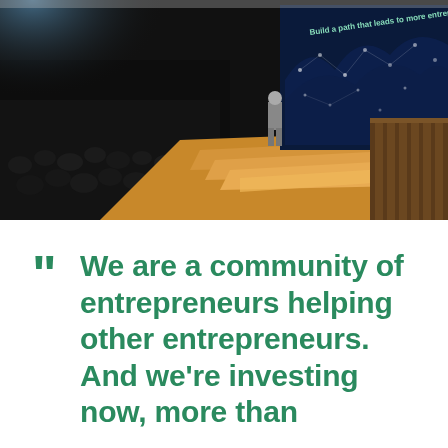[Figure (photo): Conference or keynote event photo showing a presenter standing on a curved wooden stage in front of a large blue LED screen displaying 'Build a path that leads to more entrepreneurs'. A large audience is seated in the dark on the left side of the image.]
“ We are a community of entrepreneurs helping other entrepreneurs. And we’re investing now, more than